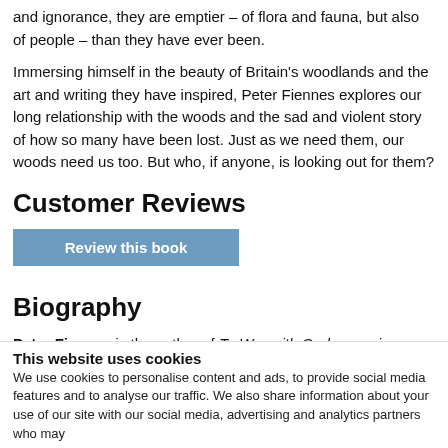and ignorance, they are emptier – of flora and fauna, but also of people – than they have ever been.
Immersing himself in the beauty of Britain's woodlands and the art and writing they have inspired, Peter Fiennes explores our long relationship with the woods and the sad and violent story of how so many have been lost. Just as we need them, our woods need us too. But who, if anyone, is looking out for them?
Customer Reviews
[Figure (other): Blue button labeled 'Review this book']
Biography
Peter Fiennes is the author of To War with God, a moving account of his grandfather's service in the First World War. As a publisher for Time Out, he published numerous books about
This website uses cookies
We use cookies to personalise content and ads, to provide social media features and to analyse our traffic. We also share information about your use of our site with our social media, advertising and analytics partners who may